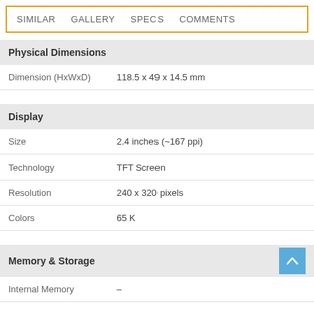SIMILAR   GALLERY   SPECS   COMMENTS
Physical Dimensions
| Property | Value |
| --- | --- |
| Dimension (HxWxD) | 118.5 x 49 x 14.5 mm |
Display
| Property | Value |
| --- | --- |
| Size | 2.4 inches (~167 ppi) |
| Technology | TFT Screen |
| Resolution | 240 x 320 pixels |
| Colors | 65 K |
Memory & Storage
| Property | Value |
| --- | --- |
| Internal Memory | – |